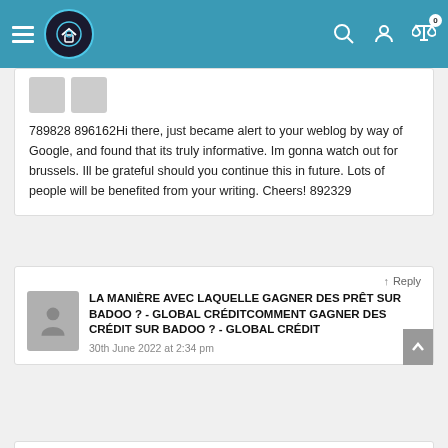Navigation bar with hamburger menu, home logo, search, account, and compare icons with badge 0
[Figure (screenshot): Partial user avatar placeholder (grey rectangles) at top of comment section]
789828 896162Hi there, just became alert to your weblog by way of Google, and found that its truly informative. Im gonna watch out for brussels. Ill be grateful should you continue this in future. Lots of people will be benefited from your writing. Cheers! 892329
↑ Reply
LA MANIÈRE AVEC LAQUELLE GAGNER DES PRÊT SUR BADOO ? - GLOBAL CRÉDITCOMMENT GAGNER DES CRÉDIT SUR BADOO ? - GLOBAL CRÉDIT
30th June 2022 at 2:34 pm
574743 930650I like this website extremely a lot, Its a really